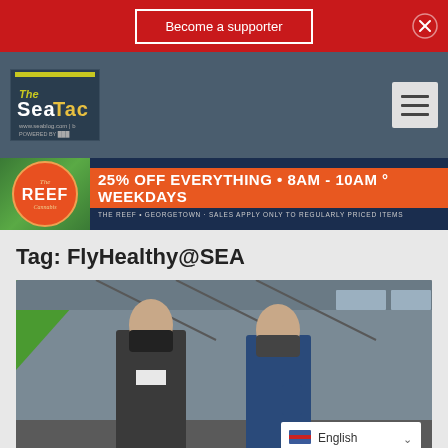Become a supporter
[Figure (logo): SeaTac blog logo with hamburger menu icon]
[Figure (infographic): The Reef Cannabis advertisement: 25% OFF EVERYTHING • 8AM - 10AM • WEEKDAYS. THE REEF • GEORGETOWN · SALES APPLY ONLY TO REGULARLY PRICED ITEMS]
Tag: FlyHealthy@SEA
[Figure (photo): Two men wearing black face masks standing in what appears to be an airport terminal or similar indoor transit space with glass and structural elements visible. English language selector visible in lower right.]